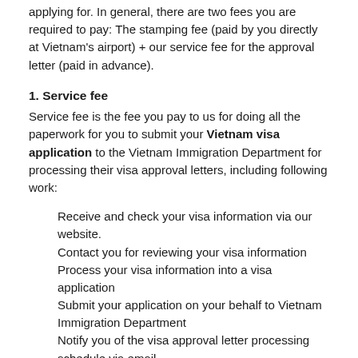applying for. In general, there are two fees you are required to pay: The stamping fee (paid by you directly at Vietnam's airport) + our service fee for the approval letter (paid in advance).
1. Service fee
Service fee is the fee you pay to us for doing all the paperwork for you to submit your Vietnam visa application to the Vietnam Immigration Department for processing their visa approval letters, including following work:
Receive and check your visa information via our website.
Contact you for reviewing your visa information
Process your visa information into a visa application
Submit your application on your behalf to Vietnam Immigration Department
Notify you of the visa approval letter processing schedule via email
Follow other procedures pursuant to the regulations of Immigration Department to get Visa approval letter granted by Immigration Department
Send the visa approval letter via email to you after 1-2 working day(s).